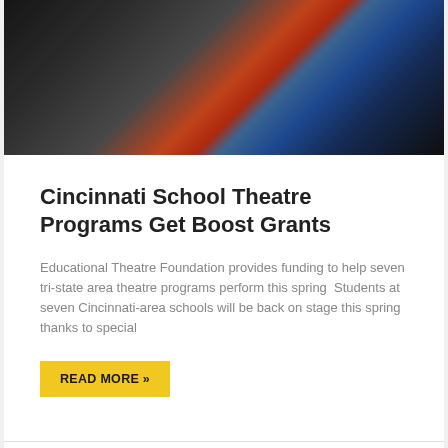[Figure (photo): Group of people/students on stage or gathered together, partially cropped at top of card]
Cincinnati School Theatre Programs Get Boost Grants
Educational Theatre Foundation provides funding to help seven tri-state area theatre programs perform this spring  Students at seven Cincinnati-area schools will be back on stage this spring thanks to special
READ MORE »
February 3, 2022